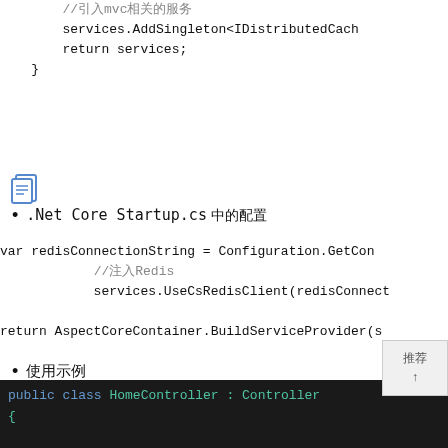//引入mvc相关的服务
        services.AddSingleton<IDistributedCach
        return services;
    }
[Figure (illustration): Document/copy icon]
.Net Core Startup.cs 中的配置
var redisConnectionString = Configuration.GetCon
            //注入Redis
            services.UseCsRedisClient(redisConnect
return AspectCoreContainer.BuildServiceProvider(s
使用示例
在需要用到的Controller中注入
[Figure (screenshot): Code screenshot showing: public class HomeController : Controller
{]